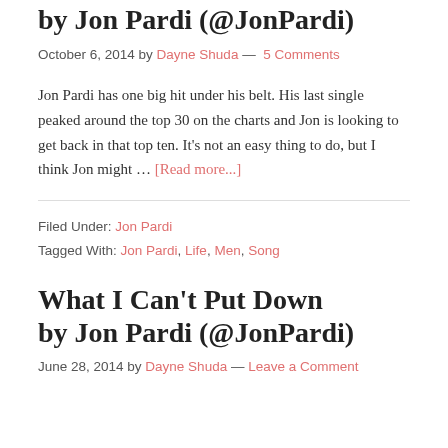by Jon Pardi (@JonPardi)
October 6, 2014 by Dayne Shuda — 5 Comments
Jon Pardi has one big hit under his belt. His last single peaked around the top 30 on the charts and Jon is looking to get back in that top ten. It's not an easy thing to do, but I think Jon might … [Read more...]
Filed Under: Jon Pardi
Tagged With: Jon Pardi, Life, Men, Song
What I Can't Put Down by Jon Pardi (@JonPardi)
June 28, 2014 by Dayne Shuda — Leave a Comment